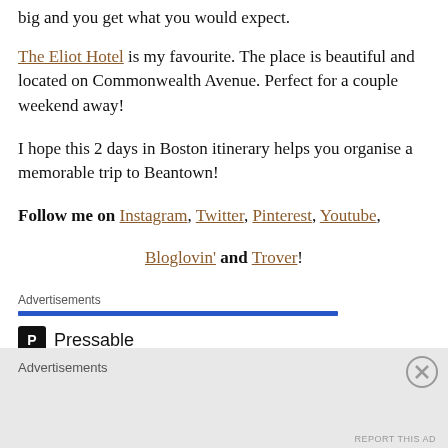big and you get what you would expect.
The Eliot Hotel is my favourite. The place is beautiful and located on Commonwealth Avenue. Perfect for a couple weekend away!
I hope this 2 days in Boston itinerary helps you organise a memorable trip to Beantown!
Follow me on Instagram, Twitter, Pinterest, Youtube, Bloglovin' and Trover!
Advertisements
[Figure (screenshot): Pressable advertisement banner with blue bar, Pressable logo and text, and dots]
Advertisements
REPORT THIS AD